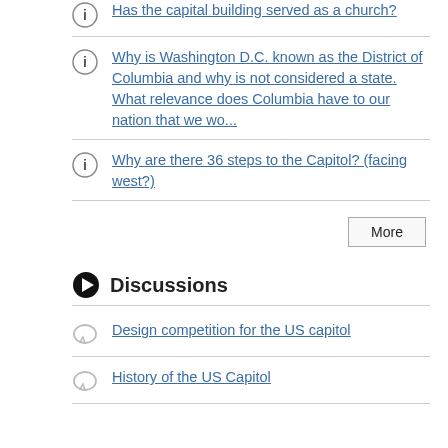Has the capital building served as a church?
Why is Washington D.C. known as the District of Columbia and why is not considered a state. What relevance does Columbia have to our nation that we wo...
Why are there 36 steps to the Capitol? (facing west?)
Discussions
Design competition for the US capitol
History of the US Capitol